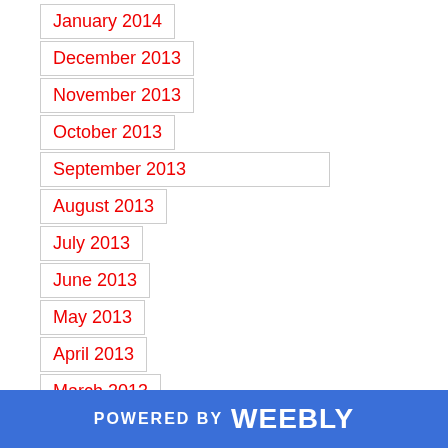January 2014
December 2013
November 2013
October 2013
September 2013
August 2013
July 2013
June 2013
May 2013
April 2013
March 2013
February 2013
January 2013
POWERED BY weebly